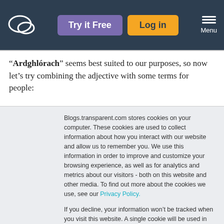[Figure (logo): Transparent language logo - oval speech bubble outline in white on dark navy header]
Try it Free  Log in  Menu
“Ardghlórach” seems best suited to our purposes, so now let’s try combining the adjective with some terms for people:
Blogs.transparent.com stores cookies on your computer. These cookies are used to collect information about how you interact with our website and allow us to remember you. We use this information in order to improve and customize your browsing experience, as well as for analytics and metrics about our visitors - both on this website and other media. To find out more about the cookies we use, see our Privacy Policy.
If you decline, your information won’t be tracked when you visit this website. A single cookie will be used in your browser to remember your preference not to be tracked.